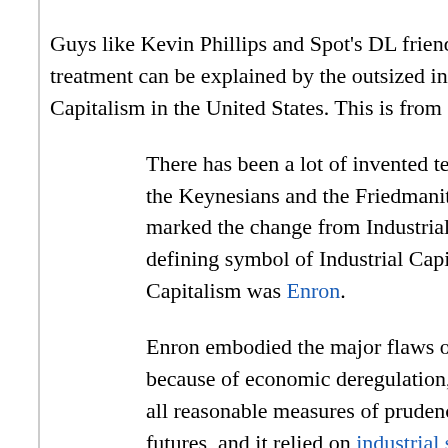Guys like Kevin Phillips and Spot's DL friend techno treatment can be explained by the outsized influence Capitalism in the United States. This is from a brilliant
There has been a lot of invented terminology to the Keynesians and the Friedmanites. But the M marked the change from Industrial to Finance C defining symbol of Industrial Capitalism, then th Capitalism was Enron.
Enron embodied the major flaws of Finance Ca because of economic deregulation, it relied on a all reasonable measures of prudence, it sold co futures, and it relied on industrial sabotage to m
All of these maneuvers were done in public with prominently on the covers of the business press Enron's enabling deregulation through the Sena